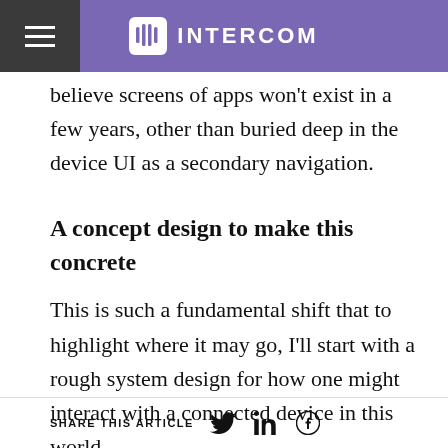INTERCOM
believe screens of apps won't exist in a few years, other than buried deep in the device UI as a secondary navigation.
A concept design to make this concrete
This is such a fundamental shift that to highlight where it may go, I'll start with a rough system design for how one might interact with a connected device in this world.
SHARE THIS ARTICLE